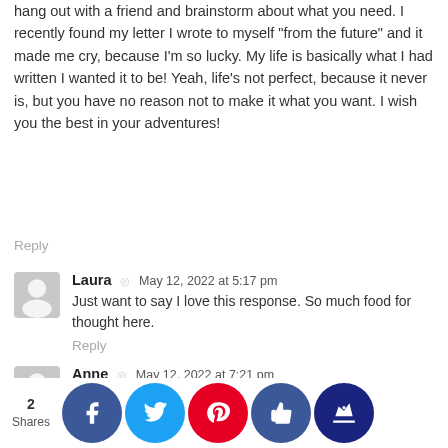hang out with a friend and brainstorm about what you need. I recently found my letter I wrote to myself "from the future" and it made me cry, because I'm so lucky. My life is basically what I had written I wanted it to be! Yeah, life's not perfect, because it never is, but you have no reason not to make it what you want. I wish you the best in your adventures!
Reply
Laura • May 12, 2022 at 5:17 pm
Just want to say I love this response. So much food for thought here.
Reply
Anne • May 12, 2022 at 7:21 pm
I need to find out more about this! Is this class something available online? I need this!!
Reply
Katharine • May 20, 2022 at 6:47 am
Anne, I wish it was! Maybe look up online and see if [something] That [totally] d my l[ife] pective. [through] Cambridge [Adult] Educa[tion]